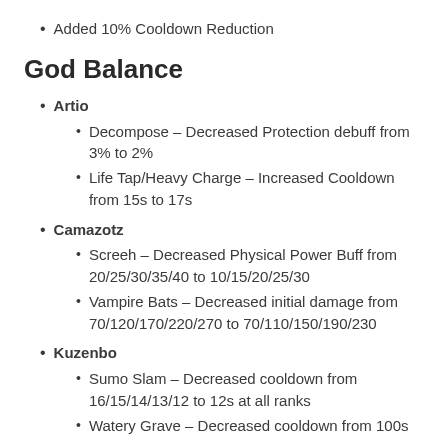Added 10% Cooldown Reduction
God Balance
Artio
Decompose – Decreased Protection debuff from 3% to 2%
Life Tap/Heavy Charge – Increased Cooldown from 15s to 17s
Camazotz
Screeh – Decreased Physical Power Buff from 20/25/30/35/40 to 10/15/20/25/30
Vampire Bats – Decreased initial damage from 70/120/170/220/270 to 70/110/150/190/230
Kuzenbo
Sumo Slam – Decreased cooldown from 16/15/14/13/12 to 12s at all ranks
Watery Grave – Decreased cooldown from 100s